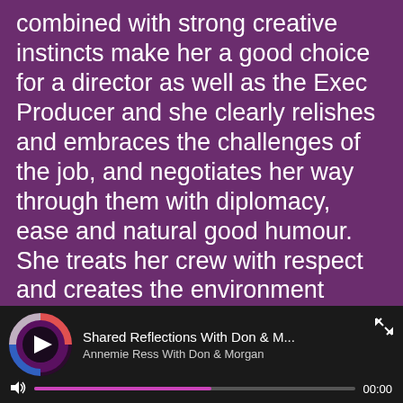combined with strong creative instincts make her a good choice for a director as well as the Exec Producer and she clearly relishes and embraces the challenges of the job, and negotiates her way through them with diplomacy, ease and natural good humour. She treats her crew with respect and creates the environment where they can do their job to their full potential.
It is unusual to find a producer who balances the handling of a budget with the increasing
[Figure (screenshot): Podcast player bar at the bottom showing a podcast icon (circular with play button, purple/black/red/blue gradient), title 'Shared Reflections With Don & M...', subtitle 'Annemie Ress With Don & Morgan', expand icon, volume/speaker icon, progress bar (partially filled in purple/pink), and time display showing 00:00]